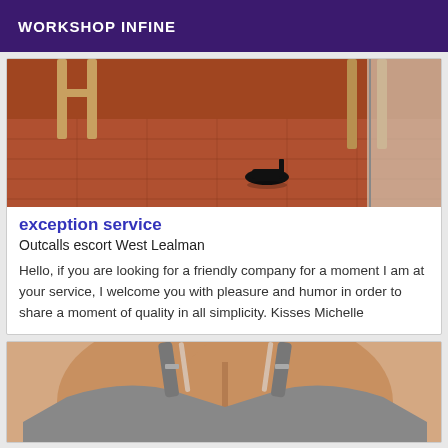WORKSHOP INFINE
[Figure (photo): Photo showing a wooden chair and tiled floor with a person's feet in black high heels visible near a doorway]
exception service
Outcalls escort West Lealman
Hello, if you are looking for a friendly company for a moment I am at your service, I welcome you with pleasure and humor in order to share a moment of quality in all simplicity. Kisses Michelle
[Figure (photo): Close-up photo of a person's chest wearing a grey top with straps]